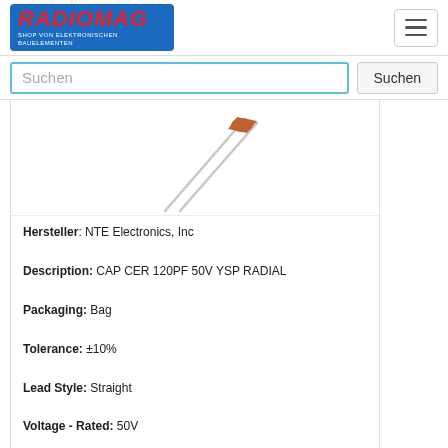RADIOMAG - SHOP VON ELEKTRONISCHEN BAUELEMENTEN
[Figure (photo): Product photo of a ceramic disc capacitor with two long straight leads, viewed at an angle. The capacitor body is small and brownish-orange at the top of the leads.]
Hersteller: NTE Electronics, Inc
Description: CAP CER 120PF 50V YSP RADIAL
Packaging: Bag
Tolerance: ±10%
Lead Style: Straight
Voltage - Rated: 50V
Package / Case: Radial, Disc
Temperature Coefficient: YSP
Size / Dimension: 0.157" Dia (4.00mm)
Mounting Type: Through Hole
Operating Temperature: -25°C ~ 85°C
Applications: General Purpose
Lead Spacing: 0.098" (2.50mm)
Height - Seated (Max): 0.197" (5.00mm)